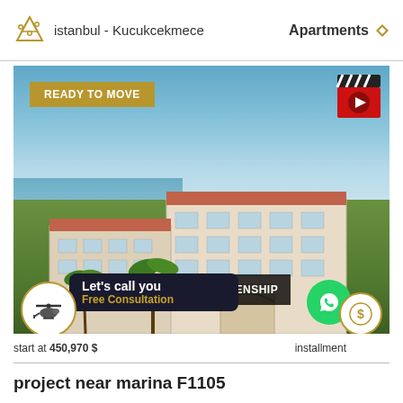istanbul - Kucukcekmece
Apartments
[Figure (photo): Aerial view of a luxury apartment complex near marina in Istanbul Kucukcekmece, with sea view, palm trees, and a resort-style entrance. Overlays include: 'READY TO MOVE' gold badge, video play button, 'Let's call you / Free Consultation' dark button, 'CITIZENSHIP' bar, price 'start at 450,970 $', 'installment' with dollar icon, WhatsApp button, helicopter circle icon.]
start at 450,970 $
installment
project near marina F1105